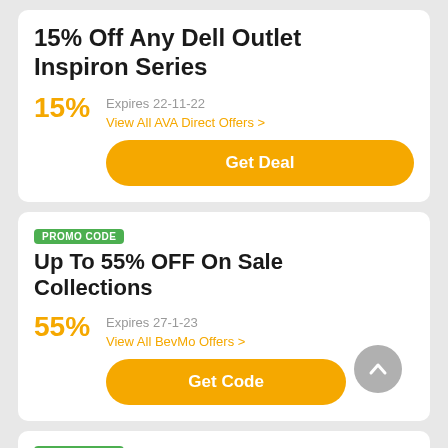15% Off Any Dell Outlet Inspiron Series
15%
Expires 22-11-22
View All AVA Direct Offers >
Get Deal
PROMO CODE
Up To 55% OFF On Sale Collections
55%
Expires 27-1-23
View All BevMo Offers >
Get Code
PROMO CODE